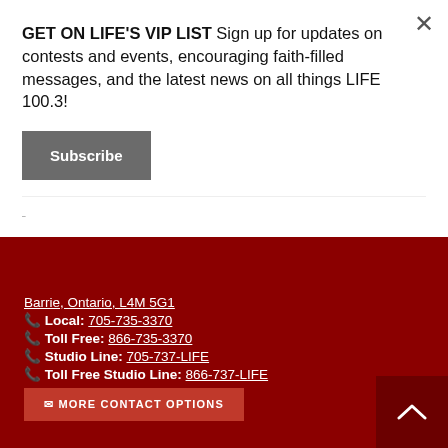GET ON LIFE'S VIP LIST Sign up for updates on contests and events, encouraging faith-filled messages, and the latest news on all things LIFE 100.3!
Subscribe
Barrie, Ontario, L4M 5G1
Local: 705-735-3370
Toll Free: 866-735-3370
Studio Line: 705-737-LIFE
Toll Free Studio Line: 866-737-LIFE
MORE CONTACT OPTIONS
Playing Now